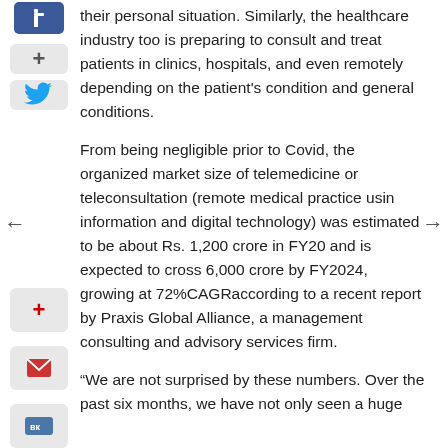their personal situation. Similarly, the healthcare industry too is preparing to consult and treat patients in clinics, hospitals, and even remotely depending on the patient's condition and general conditions.
From being negligible prior to Covid, the organized market size of telemedicine or teleconsultation (remote medical practice using information and digital technology) was estimated to be about Rs. 1,200 crore in FY20 and is expected to cross 6,000 crore by FY2024, growing at 72%CAGRaccording to a recent report by Praxis Global Alliance, a management consulting and advisory services firm.
“We are not surprised by these numbers. Over the past six months, we have not only seen a huge